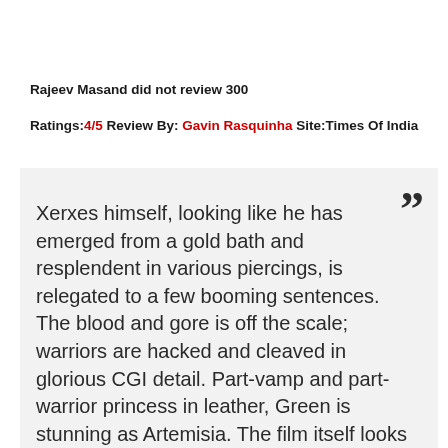Rajeev Masand did not review 300
Ratings:4/5 Review By: Gavin Rasquinha Site:Times Of India
Xerxes himself, looking like he has emerged from a gold bath and resplendent in various piercings, is relegated to a few booming sentences. The blood and gore is off the scale; warriors are hacked and cleaved in glorious CGI detail. Part-vamp and part-warrior princess in leather, Green is stunning as Artemisia. The film itself looks fantastic, awash in a red-sepia tone that dominates everything. Although you will have seen many action films set during a